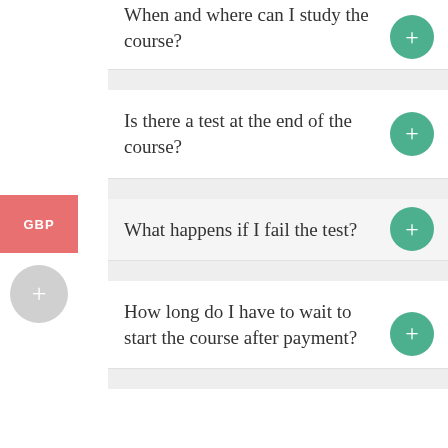When and where can I study the course?
Is there a test at the end of the course?
What happens if I fail the test?
How long do I have to wait to start the course after payment?